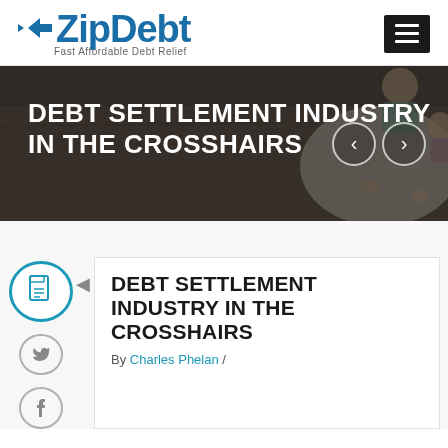[Figure (logo): ZipDebt logo with tagline 'Fast Affordable Debt Relief' and a hamburger menu button]
[Figure (photo): Hero banner with dark overlay showing 'DEBT SETTLEMENT INDUSTRY IN THE CROSSHAIRS' with navigation arrows, background shows people around a table]
[Figure (illustration): Sidebar icons: document icon in teal circle, Twitter bird icon in grey circle, Facebook f icon in grey circle]
DEBT SETTLEMENT INDUSTRY IN THE CROSSHAIRS
By Charles Phelan /